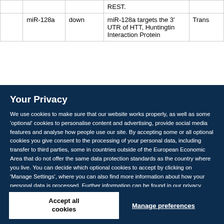|  | miRNA | Direction | Description | Source |
| --- | --- | --- | --- | --- |
|  |  |  | REST. |  |  |
|  | miR-128a | down | miR-128a targets the 3' UTR of HTT, Huntingtin Interaction Protein | Trans |
Your Privacy
We use cookies to make sure that our website works properly, as well as some 'optional' cookies to personalise content and advertising, provide social media features and analyse how people use our site. By accepting some or all optional cookies you give consent to the processing of your personal data, including transfer to third parties, some in countries outside of the European Economic Area that do not offer the same data protection standards as the country where you live. You can decide which optional cookies to accept by clicking on 'Manage Settings', where you can also find more information about how your personal data is processed. Further information can be found in our privacy policy.
Accept all cookies
Manage preferences